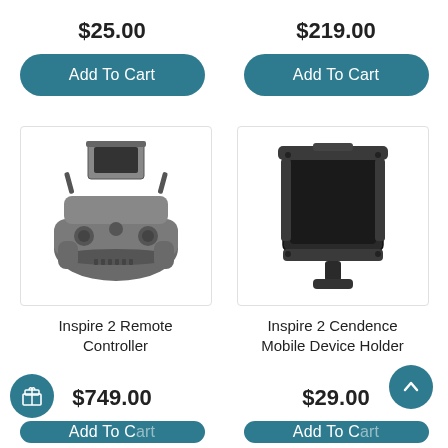$25.00
$219.00
Add To Cart
Add To Cart
[Figure (photo): Inspire 2 Remote Controller product image]
[Figure (photo): Inspire 2 Cendence Mobile Device Holder product image]
Inspire 2 Remote Controller
Inspire 2 Cendence Mobile Device Holder
$749.00
$29.00
Add To Cart
Add To Cart